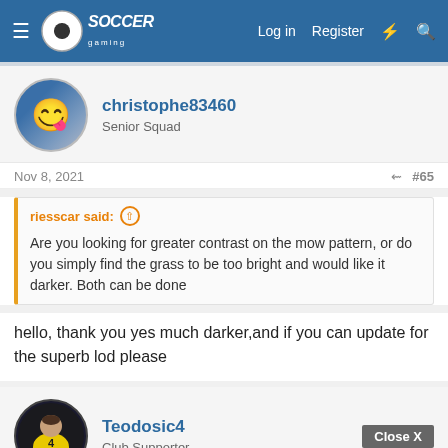Soccer Gaming forum header with logo, Log in, Register navigation
[Figure (screenshot): Forum user avatar - yellow cartoon character on blue/grey background]
christophe83460
Senior Squad
Nov 8, 2021   #65
riesscar said: Are you looking for greater contrast on the mow pattern, or do you simply find the grass to be too bright and would like it darker. Both can be done
hello, thank you yes much darker,and if you can update for the superb lod please
[Figure (photo): Forum user avatar - basketball player photo on dark background]
Teodosic4
Club Supporter
Nov 8, 2021   #66
ACTIVEWEAR AS VERSATILE AS YOU